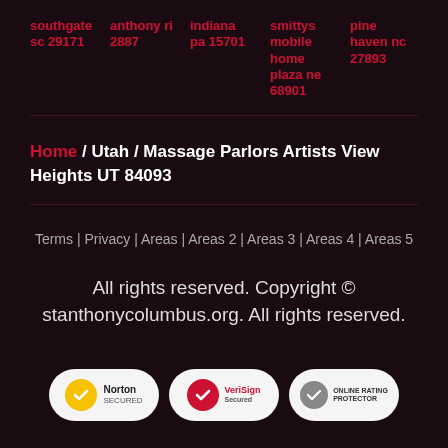southgate sc 29171 | anthony ri 2887 | indiana pa 15701 | smittys mobile home plaza ne 68901 | pine haven nc 27893
Home / Utah / Massage Parlors Artists View Heights UT 84093
Terms | Privacy | Areas | Areas 2 | Areas 3 | Areas 4 | Areas 5
All rights reserved. Copyright © stanthonycolumbus.org. All rights reserved.
[Figure (logo): Three security badges: Norton Secured, VeriSign Secured, and Online Rating Protector]